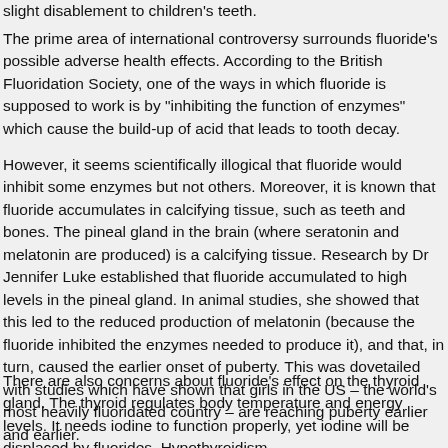slight disablement to children's teeth. The prime area of international controversy surrounds fluoride's possible adverse health effects. According to the British Fluoridation Society, one of the ways in which fluoride is supposed to work is by "inhibiting the function of enzymes" which cause the build-up of acid that leads to tooth decay.
However, it seems scientifically illogical that fluoride would inhibit some enzymes but not others. Moreover, it is known that fluoride accumulates in calcifying tissue, such as teeth and bones. The pineal gland in the brain (where seratonin and melatonin are produced) is a calcifying tissue. Research by Dr Jennifer Luke established that fluoride accumulated to high levels in the pineal gland. In animal studies, she showed that this led to the reduced production of melatonin (because the fluoride inhibited the enzymes needed to produce it), and that, in turn, caused the earlier onset of puberty. This was dovetailed with studies which have shown that girls in the US – the world's most heavily fluoridated country – are reaching puberty earlier and earlier.
There are also concerns about fluoride's effect on the thyroid gland. The thyroid regulates body temperature and energy levels. It needs iodine to function properly, yet iodine will be displaced by fluorides. Hypothyroidism